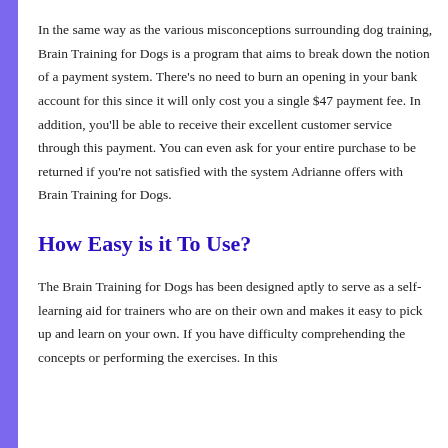In the same way as the various misconceptions surrounding dog training, Brain Training for Dogs is a program that aims to break down the notion of a payment system. There's no need to burn an opening in your bank account for this since it will only cost you a single $47 payment fee. In addition, you'll be able to receive their excellent customer service through this payment. You can even ask for your entire purchase to be returned if you're not satisfied with the system Adrianne offers with Brain Training for Dogs.
How Easy is it To Use?
The Brain Training for Dogs has been designed aptly to serve as a self-learning aid for trainers who are on their own and makes it easy to pick up and learn on your own. If you have difficulty comprehending the concepts or performing the exercises. In this